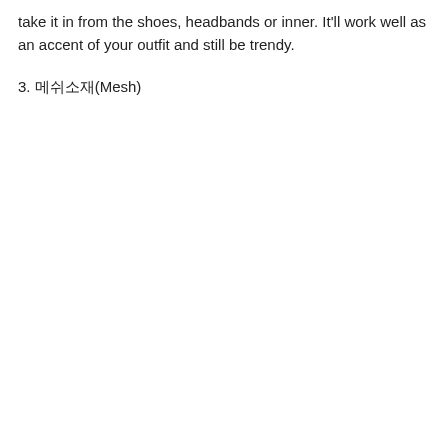take it in from the shoes, headbands or inner. It'll work well as an accent of your outfit and still be trendy.
3. 메쉬소재(Mesh)